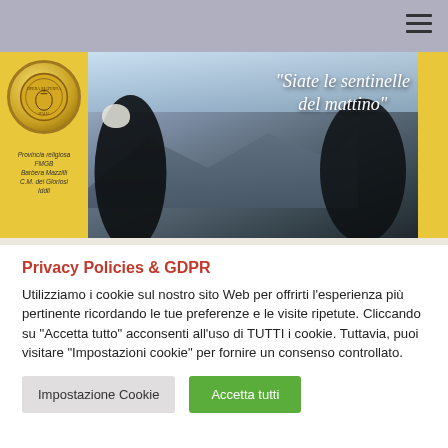Navigation bar with hamburger menu icon
[Figure (photo): Banner image showing two nuns in dark habits silhouetted against a mountain landscape with sky. Yellow panels on left and right sides. Left yellow panel has a circular religious emblem/logo and italic text 'Provincia religiosa FMGB Barbera Mazzilli C.M. dei Gloriosi Iddii'. Right yellow panel is plain yellow. Over the photo in white italic serif text: "Siate le sentinelle del mattino"]
Privacy Policies & GDPR
Utilizziamo i cookie sul nostro sito Web per offrirti l'esperienza più pertinente ricordando le tue preferenze e le visite ripetute. Cliccando su "Accetta tutto" acconsenti all'uso di TUTTI i cookie. Tuttavia, puoi visitare "Impostazioni cookie" per fornire un consenso controllato.
Impostazione Cookie
Accetta tutti